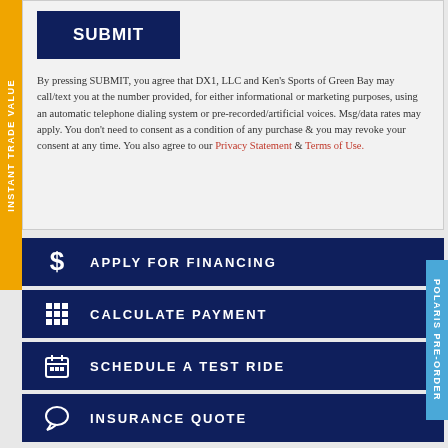SUBMIT
By pressing SUBMIT, you agree that DX1, LLC and Ken's Sports of Green Bay may call/text you at the number provided, for either informational or marketing purposes, using an automatic telephone dialing system or pre-recorded/artificial voices. Msg/data rates may apply. You don't need to consent as a condition of any purchase & you may revoke your consent at any time. You also agree to our Privacy Statement & Terms of Use.
$ APPLY FOR FINANCING
☰ CALCULATE PAYMENT
📅 SCHEDULE A TEST RIDE
💬 INSURANCE QUOTE